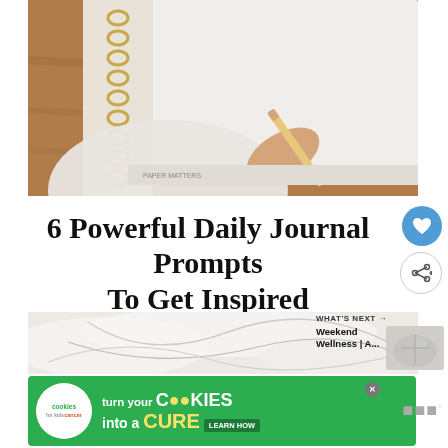[Figure (photo): Person's hand holding a pencil over a blank open spiral-bound notebook on a wooden surface, wearing a white knitted sweater]
6 Powerful Daily Journal Prompts To Get Inspired
[Figure (photo): Close-up of white fabric or textile material with folds]
[Figure (infographic): "WHAT'S NEXT" callout with thumbnail image linking to Weekend Wellness article]
[Figure (photo): Advertisement banner: cookies for kids cancer - turn your cookies into a CURE LEARN HOW]